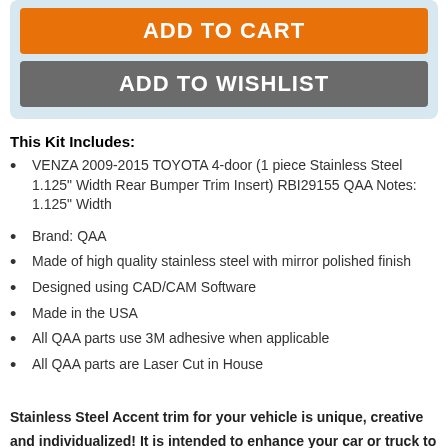[Figure (other): ADD TO CART and ADD TO WISHLIST buttons on a light blue background panel]
This Kit Includes:
VENZA 2009-2015 TOYOTA 4-door (1 piece Stainless Steel 1.125" Width Rear Bumper Trim Insert) RBI29155 QAA Notes: 1.125" Width
Brand: QAA
Made of high quality stainless steel with mirror polished finish
Designed using CAD/CAM Software
Made in the USA
All QAA parts use 3M adhesive when applicable
All QAA parts are Laser Cut in House
Stainless Steel Accent trim for your vehicle is unique, creative and individualized! It is intended to enhance your car or truck to provide a unique aesthetic upgrade. It is pre-formed for each model from a Highly Polished Stainless Steel, with a full coverage 3M